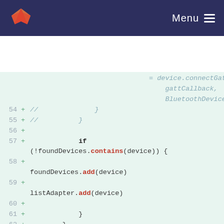GitLab logo | Menu
[Figure (screenshot): Code diff view showing Java/Android Bluetooth scanning code lines 54-66, with added lines marked with + on a light green background. Lines include: if (!foundDevices.contains(device)) {, foundDevices.add(device), listAdapter.add(device), }, }, // Stops scanning after a pre-defined period, Handler().postDelayed({, mScanning = false]